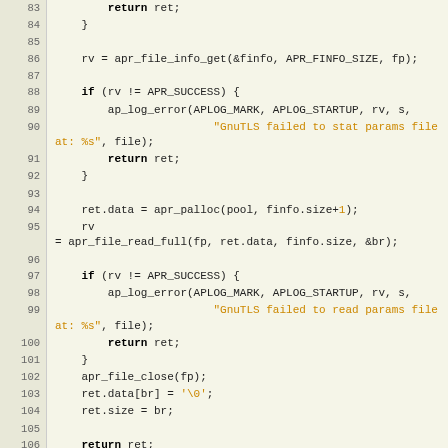[Figure (screenshot): Source code listing in C showing lines 83-111 of a file, with syntax highlighting. Functions include apr_file_info_get, ap_log_error, apr_palloc, apr_file_read_full, apr_file_close, and mod_gnutls_hook_post_config.]